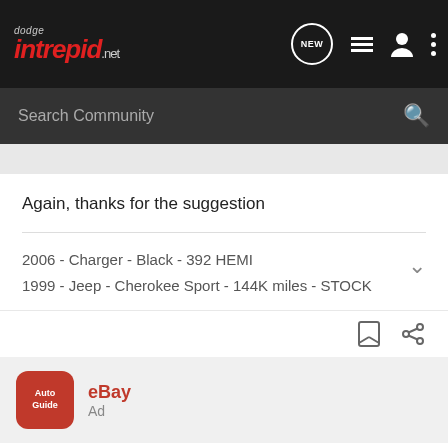dodge intrepid .net - navigation bar with NEW, list, user, and menu icons
Search Community
Again, thanks for the suggestion
2006 - Charger - Black - 392 HEMI
1999 - Jeep - Cherokee Sport - 144K miles - STOCK
[Figure (screenshot): eBay AutoGuide advertisement with red AutoGuide app icon]
Check out AutoGuide's eBay Deals of The Week - Updated every week
This week's addition: 49% OFF! on Android vehicle monitor with...